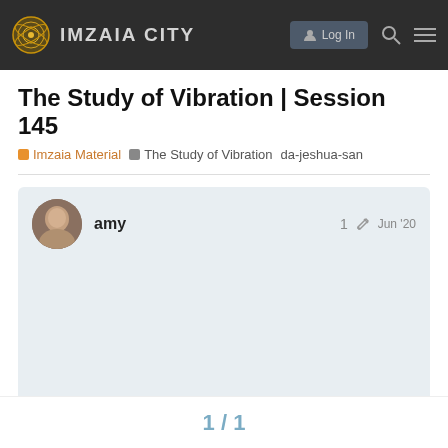IMZAIA CITY
The Study of Vibration | Session 145
Imzaia Material  The Study of Vibration  da-jeshua-san
amy  1  Jun '20
1 / 1